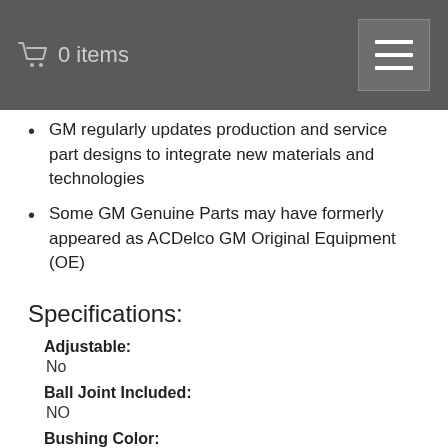🛒 0 items
GM regularly updates production and service part designs to integrate new materials and technologies
Some GM Genuine Parts may have formerly appeared as ACDelco GM Original Equipment (OE)
Specifications:
Adjustable: No
Ball Joint Included: NO
Bushing Color: Black
Bushing Material: Steel and Rubber
Bushings Included: